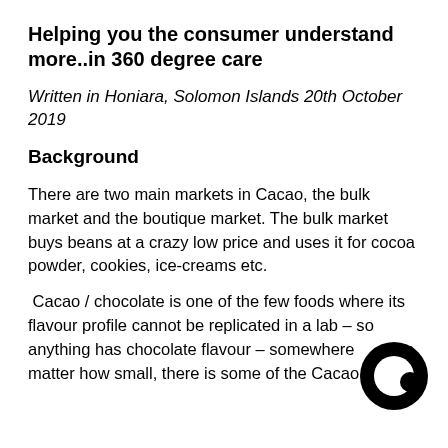Helping you the consumer understand more..in 360 degree care
Written in Honiara, Solomon Islands 20th October 2019
Background
There are two main markets in Cacao, the bulk market and the boutique market. The bulk market buys beans at a crazy low price and uses it for cocoa powder, cookies, ice-creams etc.
Cacao / chocolate is one of the few foods where its flavour profile cannot be replicated in a lab – so anything has chocolate flavour – somewhere in, no matter how small, there is some of the Cacao bean
[Figure (logo): Black circular logo/icon on bottom right of page]